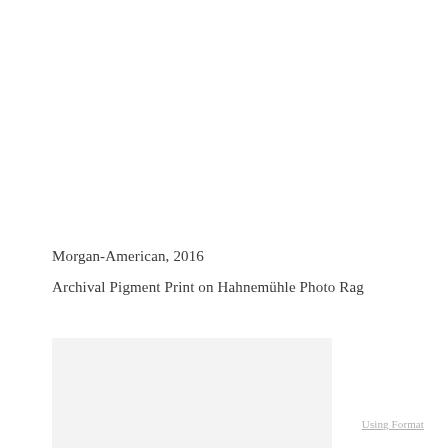Morgan-American, 2016
Archival Pigment Print on Hahnemühle Photo Rag
[Figure (photo): A light gray rectangular image placeholder in the lower portion of the page]
Using Format